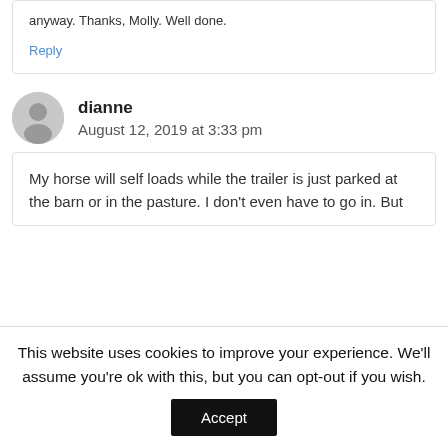anyway. Thanks, Molly. Well done.
Reply
dianne
August 12, 2019 at 3:33 pm
My horse will self loads while the trailer is just parked at the barn or in the pasture. I don't even have to go in. But
This website uses cookies to improve your experience. We'll assume you're ok with this, but you can opt-out if you wish.